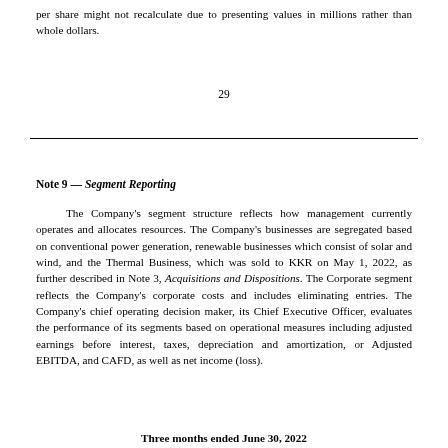per share might not recalculate due to presenting values in millions rather than whole dollars.
29
Note 9 — Segment Reporting
The Company's segment structure reflects how management currently operates and allocates resources. The Company's businesses are segregated based on conventional power generation, renewable businesses which consist of solar and wind, and the Thermal Business, which was sold to KKR on May 1, 2022, as further described in Note 3, Acquisitions and Dispositions. The Corporate segment reflects the Company's corporate costs and includes eliminating entries. The Company's chief operating decision maker, its Chief Executive Officer, evaluates the performance of its segments based on operational measures including adjusted earnings before interest, taxes, depreciation and amortization, or Adjusted EBITDA, and CAFD, as well as net income (loss).
Three months ended June 30, 2022